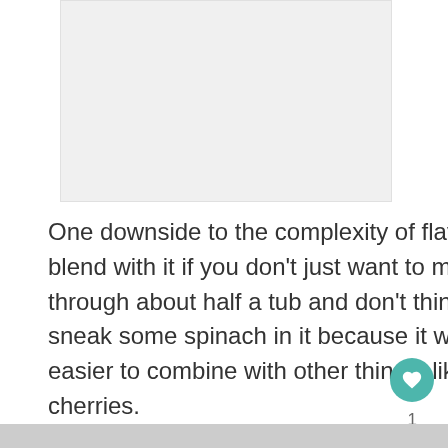[Figure (photo): Placeholder image area at top of page, light gray background]
One downside to the complexity of flavor here is the challenge to find things to blend with it if you don't just want to mix it with water or almond milk. I've been through about half a tub and don't think I've mixed it with fruit yet. You could sneak some spinach in it because it won't add much flavor. Vanilla might be easier to combine with other things, like frozen pineapple, mango, or even cherries.